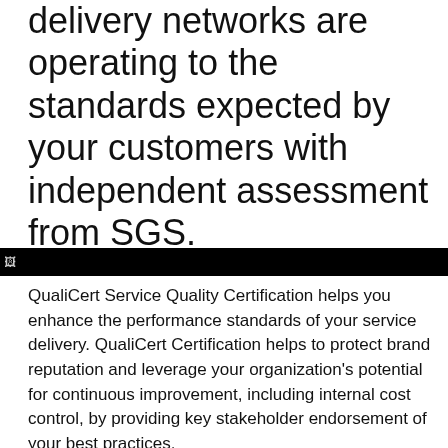delivery networks are operating to the standards expected by your customers with independent assessment from SGS.
[Figure (other): Black horizontal banner bar with a small broken image icon on the left]
QualiCert Service Quality Certification helps you enhance the performance standards of your service delivery. QualiCert Certification helps to protect brand reputation and leverage your organization's potential for continuous improvement, including internal cost control, by providing key stakeholder endorsement of your best practices.
The SGS QualiCert™ Service Quality Certification program includes the following elements:
– Training on the link between service delivery and